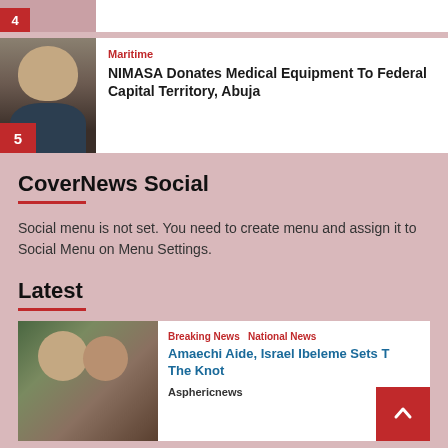[Figure (photo): Partial article thumbnail stub with red badge number 4]
[Figure (photo): Portrait photo of a man in a suit, numbered 5]
Maritime
NIMASA Donates Medical Equipment To Federal Capital Territory, Abuja
CoverNews Social
Social menu is not set. You need to create menu and assign it to Social Menu on Menu Settings.
Latest
[Figure (photo): Photo of a couple, used for latest article thumbnail]
Breaking News National News
Amaechi Aide, Israel Ibeleme Sets The Knot
Asphericnews